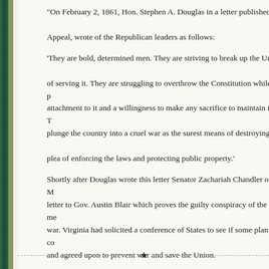“On February 2, 1861, Hon. Stephen A. Douglas in a letter published in the Appeal, wrote of the Republican leaders as follows:
‘They are bold, determined men. They are striving to break up the Union under the plea of serving it. They are struggling to overthrow the Constitution while professing deep attachment to it and a willingness to make any sacrifice to maintain it They are trying to plunge the country into a cruel war as the surest means of destroying the Union, under the plea of enforcing the laws and protecting public property.’
Shortly after Douglas wrote this letter Senator Zachariah Chandler of Michigan wrote a letter to Gov. Austin Blair which proves the guilty conspiracy of the men who brought on war. Virginia had solicited a conference of States to see if some plan could be proposed and agreed upon to prevent war and save the Union.
Chandler wrote Blair that he opposed the conference and that no Republican State should send a delegate. He implored the Governor to send stiff-necked delegates, and added these sinister words: ‘Some of the manufacturing States think that a war would be bad; without a little blood-letting this Union will not be worth a curse.”
(The Conspiracy Which Brought on War, S.A. Cunningham, Confederate Veteran, Vol. XXIV, No. 10, October 1916, pg. 436)
★